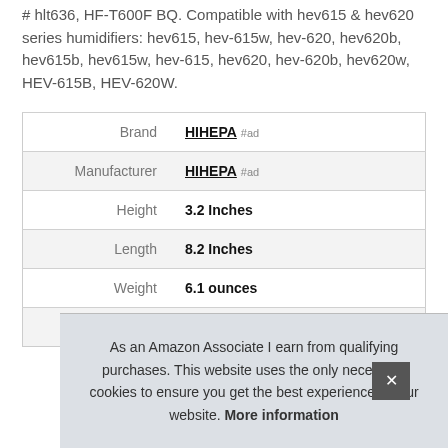# hlt636, HF-T600F BQ. Compatible with hev615 & hev620 series humidifiers: hev615, hev-615w, hev-620, hev620b, hev615b, hev615w, hev-615, hev620, hev-620b, hev620w, HEV-615B, HEV-620W.
|  |  |
| --- | --- |
| Brand | HIHEPA #ad |
| Manufacturer | HIHEPA #ad |
| Height | 3.2 Inches |
| Length | 8.2 Inches |
| Weight | 6.1 ounces |
| Width | 7.2 Inches |
As an Amazon Associate I earn from qualifying purchases. This website uses the only necessary cookies to ensure you get the best experience on our website. More information